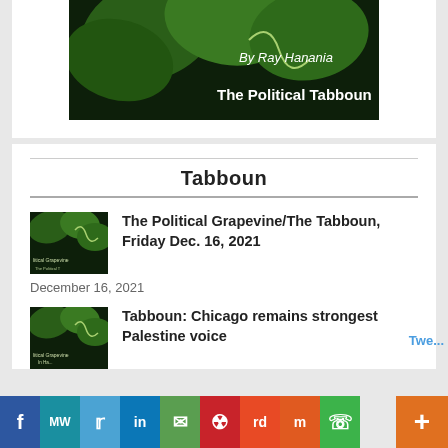[Figure (photo): Header image with grape leaves and vines on dark background. Text reads 'By Ray Hanania' and 'The Political Tabboun']
Tabboun
[Figure (photo): Thumbnail of Political Grapevine / The Tabboun article with green vine leaves]
The Political Grapevine/The Tabboun, Friday Dec. 16, 2021
December 16, 2021
[Figure (photo): Thumbnail of Tabboun: Chicago remains strongest Palestine voice article with green vine leaves]
Tabboun: Chicago remains strongest Palestine voice